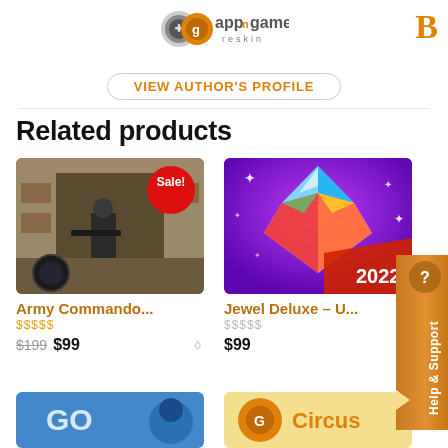[Figure (logo): appnGame reskin logo with circular icon and text]
B
View Author's Profile
Related products
[Figure (screenshot): Army Commando game screenshot - FPS shooter scene with Sale badge]
Army Commando...
$$$$$ (stars)
$199 $99
[Figure (screenshot): Jewel Deluxe game icon - colorful diamond gem on purple background, 2022]
Jewel Deluxe – U...
$$$$$ (stars gray)
$99
[Figure (screenshot): Bottom left partially visible game screenshot]
[Figure (screenshot): Bottom right partially visible Circus game]
[Figure (other): Help & Support orange badge on right side]